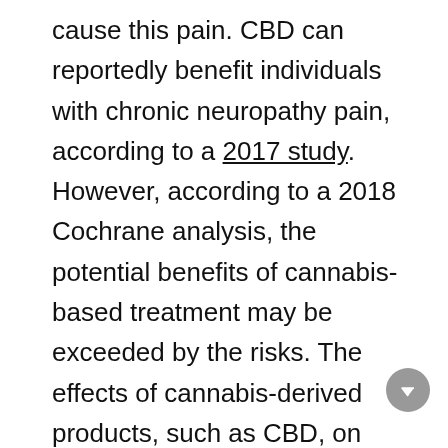cause this pain. CBD can reportedly benefit individuals with chronic neuropathy pain, according to a 2017 study. However, according to a 2018 Cochrane analysis, the potential benefits of cannabis-based treatment may be exceeded by the risks. The effects of cannabis-derived products, such as CBD, on chronic neuropathic pain, were investigated in this research. The study looked at 11 old studies that included over 1,000 individuals. It examined 16 studies with a total of 1,750 individuals. A more comprehensive examination is required to fully comprehend the function of this drug in the treatment of persistent